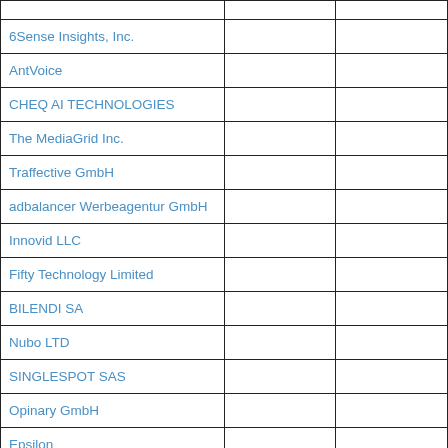|  |  |  |
| --- | --- | --- |
| 6Sense Insights, Inc. |  |  |
| AntVoice |  |  |
| CHEQ AI TECHNOLOGIES |  |  |
| The MediaGrid Inc. |  |  |
| Traffective GmbH |  |  |
| adbalancer Werbeagentur GmbH |  |  |
| Innovid LLC |  |  |
| Fifty Technology Limited |  |  |
| BILENDI SA |  |  |
| Nubo LTD |  |  |
| SINGLESPOT SAS |  |  |
| Opinary GmbH |  |  |
| Epsilon |  |  |
| Arrivalist Co. |  |  |
| Eskimi |  |  |
| Impact+ |  |  |
| Sizmek by Amazon |  |  |
| One Tech Group GmbH |  |  |
| NoBid, Inc. |  |  |
| Frameplay Corporation |  |  |